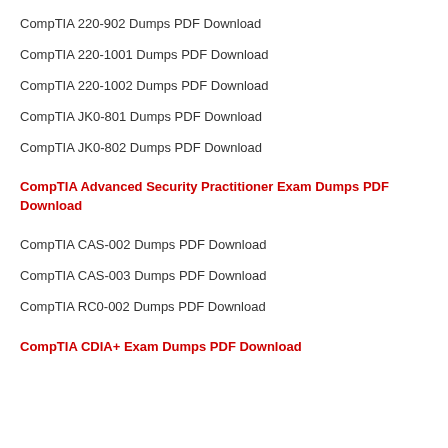CompTIA 220-902 Dumps PDF Download
CompTIA 220-1001 Dumps PDF Download
CompTIA 220-1002 Dumps PDF Download
CompTIA JK0-801 Dumps PDF Download
CompTIA JK0-802 Dumps PDF Download
CompTIA Advanced Security Practitioner Exam Dumps PDF Download
CompTIA CAS-002 Dumps PDF Download
CompTIA CAS-003 Dumps PDF Download
CompTIA RC0-002 Dumps PDF Download
CompTIA CDIA+ Exam Dumps PDF Download